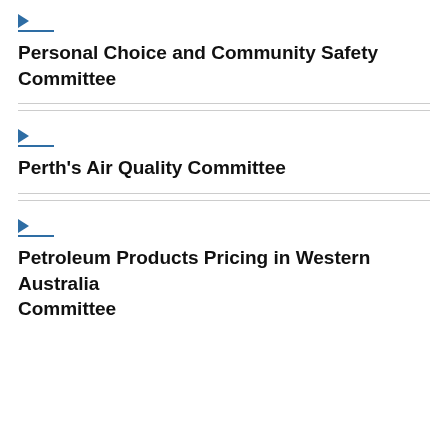Personal Choice and Community Safety Committee
Perth's Air Quality Committee
Petroleum Products Pricing in Western Australia Committee